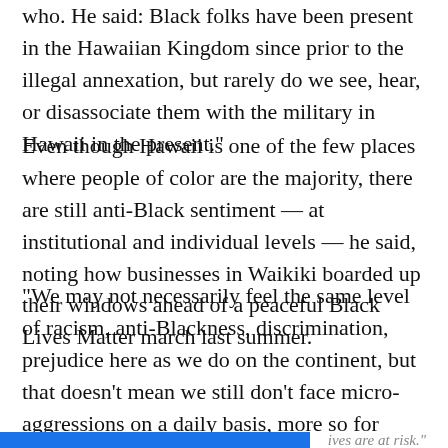who. He said: "Black folks have been present in the Hawaiian Kingdom since prior to the illegal annexation, but rarely do we see, hear, or disassociate them with the military in Hawaii in the present."
Even though Hawaii is one of the few places where people of color are the majority, there are still anti-Black sentiment — at institutional and individual levels — he said, noting how businesses in Waikiki boarded up their windows ahead of a peaceful Black Lives Matter march last summer.
“We may not necessarily feel the same level of racism, anti-Blackness, discrimination, prejudice here as we do on the continent, but that doesn’t mean we still don’t face micro-aggressions on a daily basis, more so for some people,” Caldwell said. “I think some people might be more willing to deal with those because it
ives are at risk."